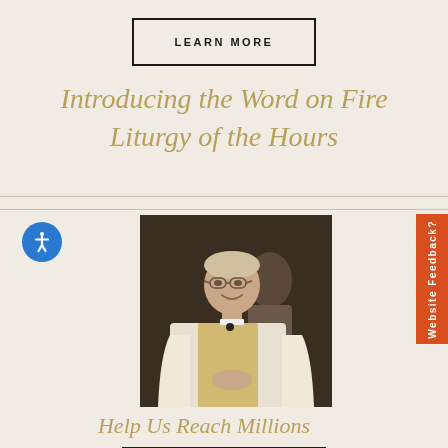LEARN MORE
Introducing the Word on Fire Liturgy of the Hours
[Figure (photo): Smiling Catholic priest wearing white vestments with gold embroidery, standing in a church doorway with another person partially visible behind him]
Help Us Reach Millions
DONATE MONTHLY